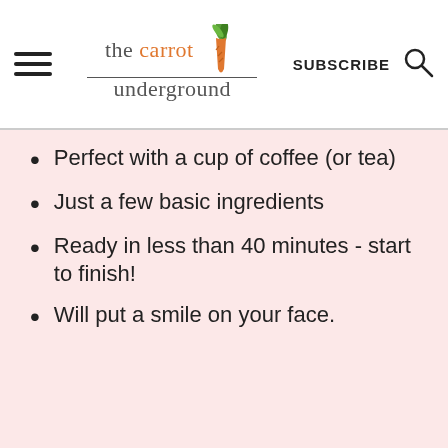the carrot underground | SUBSCRIBE
Perfect with a cup of coffee (or tea)
Just a few basic ingredients
Ready in less than 40 minutes - start to finish!
Will put a smile on your face.